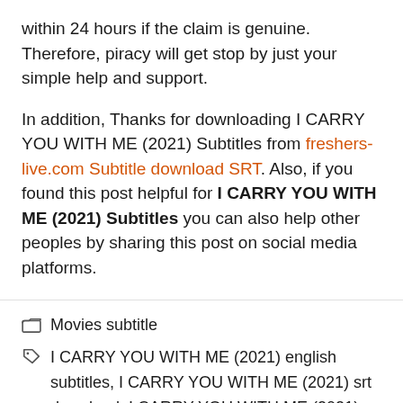within 24 hours if the claim is genuine. Therefore, piracy will get stop by just your simple help and support.
In addition, Thanks for downloading I CARRY YOU WITH ME (2021) Subtitles from freshers-live.com Subtitle download SRT. Also, if you found this post helpful for I CARRY YOU WITH ME (2021) Subtitles you can also help other peoples by sharing this post on social media platforms.
Movies subtitle
I CARRY YOU WITH ME (2021) english subtitles, I CARRY YOU WITH ME (2021) srt download, I CARRY YOU WITH ME (2021) Subtitle, I CARRY YOU WITH ME (2021) Subtitles, I CARRY YOU WITH ME (2021)